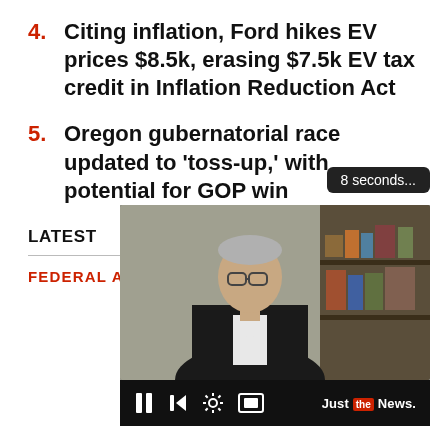4. Citing inflation, Ford hikes EV prices $8.5k, erasing $7.5k EV tax credit in Inflation Reduction Act
5. Oregon gubernatorial race updated to 'toss-up,' with potential for GOP win
LATEST
FEDERAL AGENCIES
[Figure (screenshot): Video player thumbnail showing a man in a dark suit speaking, with bookshelf in background. Controls bar visible at bottom. Tooltip shows '8 seconds...' in top right.]